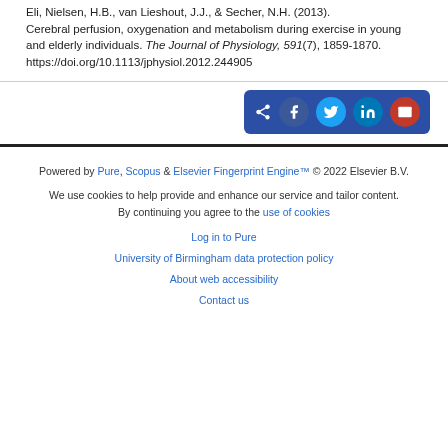Eli, Nielsen, H.B., van Lieshout, J.J., & Secher, N.H. (2013). Cerebral perfusion, oxygenation and metabolism during exercise in young and elderly individuals. The Journal of Physiology, 591(7), 1859-1870. https://doi.org/10.1113/jphysiol.2012.244905
[Figure (other): Share bar with icons for Facebook, Twitter, LinkedIn, and email sharing]
Powered by Pure, Scopus & Elsevier Fingerprint Engine™ © 2022 Elsevier B.V. We use cookies to help provide and enhance our service and tailor content. By continuing you agree to the use of cookies. Log in to Pure. University of Birmingham data protection policy. About web accessibility. Contact us.